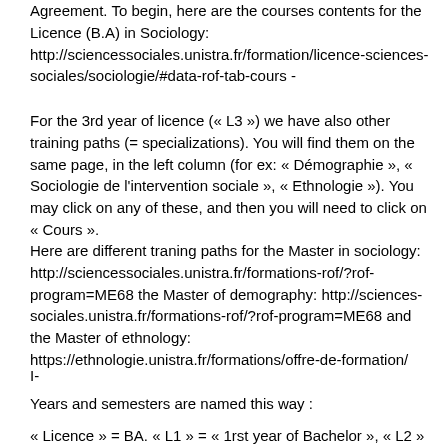Agreement. To begin, here are the courses contents for the Licence (B.A) in Sociology: http://sciencessociales.unistra.fr/formation/licence-sciences-sociales/sociologie/#data-rof-tab-cours -
For the 3rd year of licence (« L3 ») we have also other training paths (= specializations). You will find them on the same page, in the left column (for ex: « Démographie », « Sociologie de l'intervention sociale », « Ethnologie »). You may click on any of these, and then you will need to click on « Cours ».
Here are different traning paths for the Master in sociology: http://sciencessociales.unistra.fr/formations-rof/?rof-program=ME68 the Master of demography: http://sciences-sociales.unistra.fr/formations-rof/?rof-program=ME68 and the Master of ethnology: https://ethnologie.unistra.fr/formations/offre-de-formation/
I-
Years and semesters are named this way :
« Licence » = BA. « L1 » = « 1rst year of Bachelor », « L2 » = « 2nd